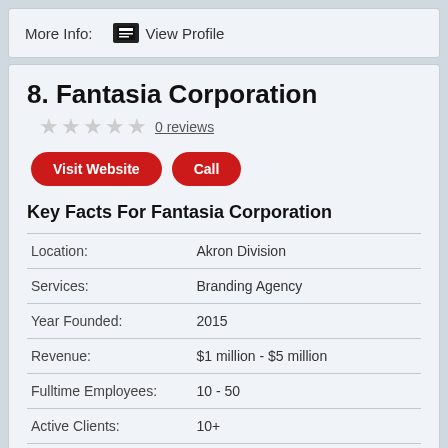More Info:   View Profile
8. Fantasia Corporation
0 reviews
Visit Website   Call
Key Facts For Fantasia Corporation
|  |  |
| --- | --- |
| Location: | Akron Division |
| Services: | Branding Agency |
| Year Founded: | 2015 |
| Revenue: | $1 million - $5 million |
| Fulltime Employees: | 10 - 50 |
| Active Clients: | 10+ |
| Client Retention Rate: | 89 |